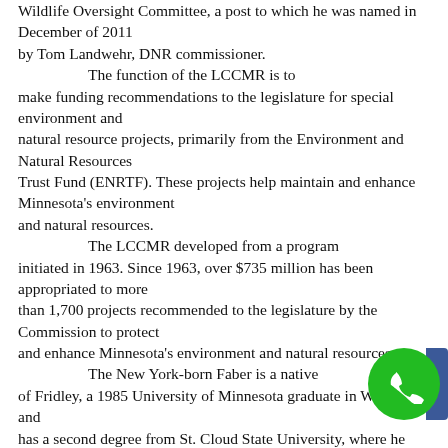Wildlife Oversight Committee, a post to which he was named in December of 2011 by Tom Landwehr, DNR commissioner. The function of the LCCMR is to make funding recommendations to the legislature for special environment and natural resource projects, primarily from the Environment and Natural Resources Trust Fund (ENRTF). These projects help maintain and enhance Minnesota's environment and natural resources. The LCCMR developed from a program initiated in 1963. Since 1963, over $735 million has been appropriated to more than 1,700 projects recommended to the legislature by the Commission to protect and enhance Minnesota's environment and natural resources. The New York-born Faber is a native of Fridley, a 1985 University of Minnesota graduate in Wildlife and has a second degree from St. Cloud State University, where he taught